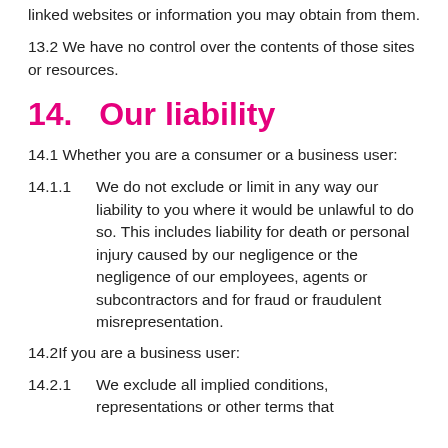linked websites or information you may obtain from them.
13.2 We have no control over the contents of those sites or resources.
14. Our liability
14.1 Whether you are a consumer or a business user:
14.1.1      We do not exclude or limit in any way our liability to you where it would be unlawful to do so. This includes liability for death or personal injury caused by our negligence or the negligence of our employees, agents or subcontractors and for fraud or fraudulent misrepresentation.
14.2If you are a business user:
14.2.1      We exclude all implied conditions, representations or other terms that...